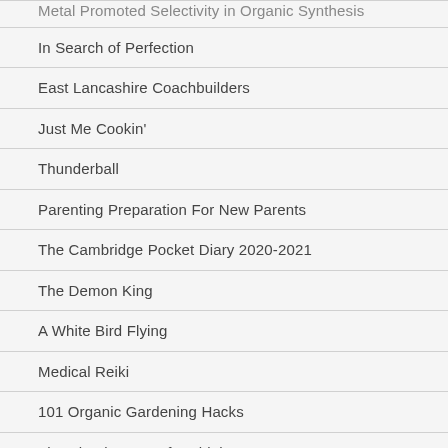Metal Promoted Selectivity in Organic Synthesis
In Search of Perfection
East Lancashire Coachbuilders
Just Me Cookin'
Thunderball
Parenting Preparation For New Parents
The Cambridge Pocket Diary 2020-2021
The Demon King
A White Bird Flying
Medical Reiki
101 Organic Gardening Hacks
The Shopkeeper Of Bethlehem